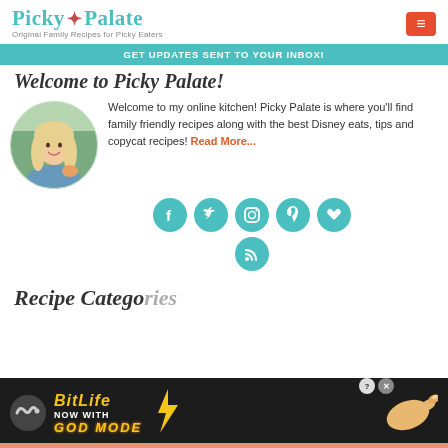Picky Palate — Original Family Recipes for Picky Eaters
GET UPDATES SENT TO YOUR INBOX!
Welcome to Picky Palate!
[Figure (photo): Circular profile photo of a blonde woman smiling, outdoors, holding food]
Welcome to my online kitchen! Picky Palate is where you'll find family friendly recipes along with the best Disney eats, tips and copycat recipes! Read More...
[Figure (infographic): Row of teal circular social media icons: Facebook, Twitter, Instagram, Pinterest, Bloglovin, and RSS]
Recipe Categories
[Figure (screenshot): Advertisement for BitLife game: NOW WITH GOD MODE, with mascot hand pointing]